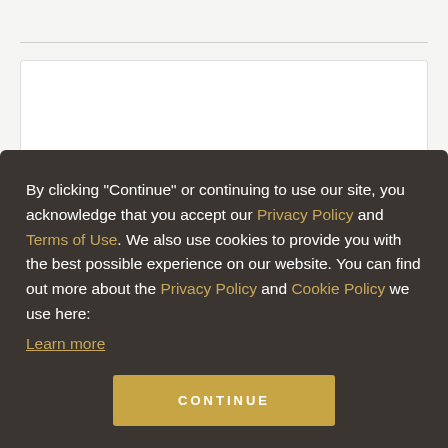SHARE THIS COURSE
By clicking "Continue" or continuing to use our site, you acknowledge that you accept our Privacy Policy and Terms of Use. We also use cookies to provide you with the best possible experience on our website. You can find out more about the Privacy Policy and Cookie Policy we use here:
Learn more
CONTINUE